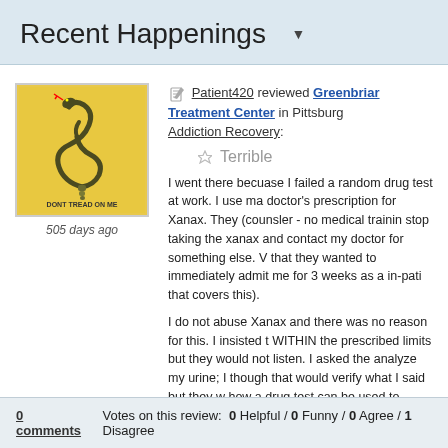Recent Happenings
Patient420 reviewed Greenbriar Treatment Center in Pittsburgh Addiction Recovery:
Terrible
505 days ago
I went there becuase I failed a random drug test at work. I use ma doctor's prescription for Xanax. They (counsler - no medical trainin stop taking the xanax and contact my doctor for something else. V that they wanted to immediately admit me for 3 weeks as a in-pati that covers this).
I do not abuse Xanax and there was no reason for this. I insisted t WITHIN the prescribed limits but they would not listen. I asked the analyze my urine; I though that would verify what I said but they w how a drug test can be used to "convict" someone but they won't patient.
Add your Vote:
0 comments   Votes on this review: 0 Helpful / 0 Funny / 0 Agree / 1 Disagree